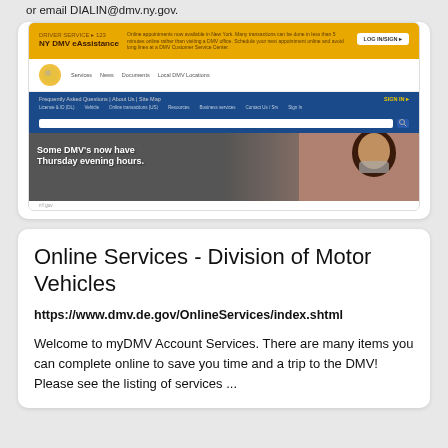or email DIALIN@dmv.ny.gov.
[Figure (screenshot): Screenshot of the NY DMV website showing a yellow banner with DMV information, navigation bar, blue header with menu and search bar, and a hero image with text 'Some DMV's now have Thursday evening hours.' showing a woman wearing a face mask.]
Online Services - Division of Motor Vehicles
https://www.dmv.de.gov/OnlineServices/index.shtml
Welcome to myDMV Account Services. There are many items you can complete online to save you time and a trip to the DMV! Please see the listing of services ...